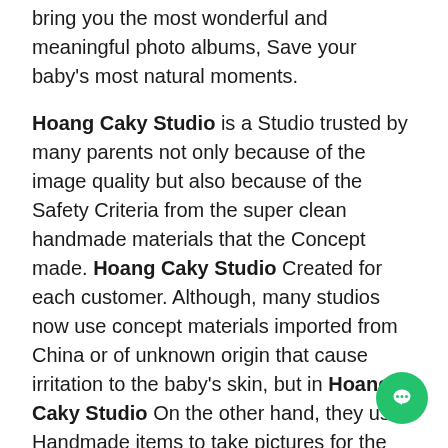bring you the most wonderful and meaningful photo albums, Save your baby's most natural moments.
Hoang Caky Studio is a Studio trusted by many parents not only because of the image quality but also because of the Safety Criteria from the super clean handmade materials that the Concept made. Hoang Caky Studio Created for each customer. Although, many studios now use concept materials imported from China or of unknown origin that cause irritation to the baby's skin, but in Hoang Caky Studio On the other hand, they use Handmade items to take pictures for the baby, and before each photo shoot, the clothes will be washed and disinfected to avoid contamination and affect the health of the children.
On the other hand, the Studio is beautifully and beautifully decorated to help children express their own lovely and